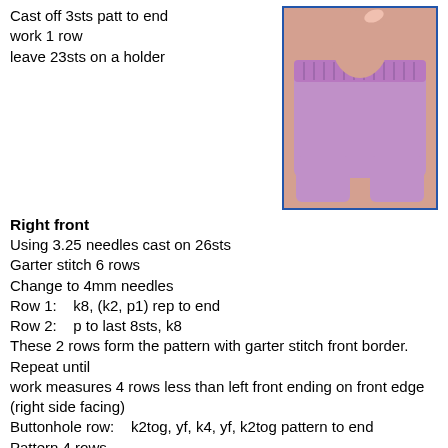Cast off 3sts patt to end
work 1 row
leave 23sts on a holder
[Figure (photo): Photo of a baby doll wearing purple/lavender knitted pants from the back.]
Right front
Using 3.25 needles cast on 26sts
Garter stitch 6 rows
Change to 4mm needles
Row 1:   k8, (k2, p1) rep to end
Row 2:   p to last 8sts, k8
These 2 rows form the pattern with garter stitch front border.  Repeat until work measures 4 rows less than left front ending on front edge (right side facing)
Buttonhole row:   k2tog, yf, k4, yf, k2tog pattern to end
Pattern 4 rows
(Wrong side facing)
Shape Armholes
Cast off 3sts patt to end    23sts, do not fasten off yarn
Join Pieces and shape raglan
On left hand needle, with right side facing slip sts of left front, sleeve, back, sleeve and right front  working yarn should be at the beg of row  133sts